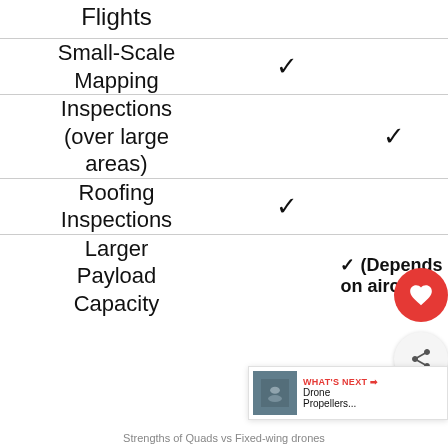| Feature | Multirotor/Quad | Fixed-Wing |
| --- | --- | --- |
| Flights |  |  |
| Small-Scale Mapping | ✓ |  |
| Inspections (over large areas) |  | ✓ |
| Roofing Inspections | ✓ |  |
| Larger Payload Capacity |  | ✓ (Depends on aircraft) |
Strengths of Quads vs Fixed-wing drones